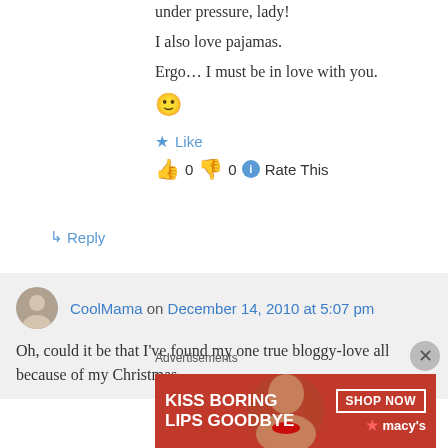under pressure, lady!
I also love pajamas.
Ergo… I must be in love with you.
😊
★ Like
👍 0 👎 0 ℹ Rate This
↳ Reply
CoolMama on December 14, 2010 at 5:07 pm
Oh, could it be that I've found my one true bloggy-love all because of my Christmas
Advertisements
[Figure (illustration): Macy's advertisement banner: KISS BORING LIPS GOODBYE with SHOP NOW button and macys logo]